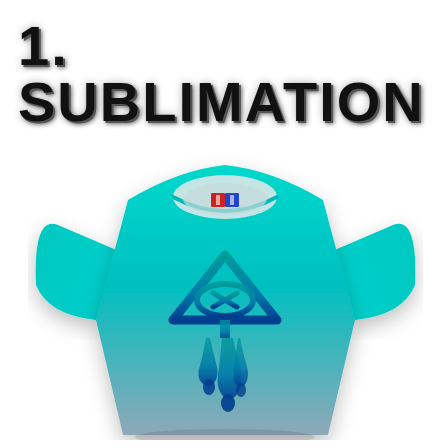1. SUBLIMATION
[Figure (photo): A cyan/turquoise sublimation-printed t-shirt with a gradient from bright teal at the top to muted blue-grey at the bottom. The shirt features a central graphic: a downward-pointing triangle outline containing an eye with an X symbol, with dripping paint/ink drops below. The shirt collar has a small brand label. The shirt is displayed on an invisible mannequin against a white background.]